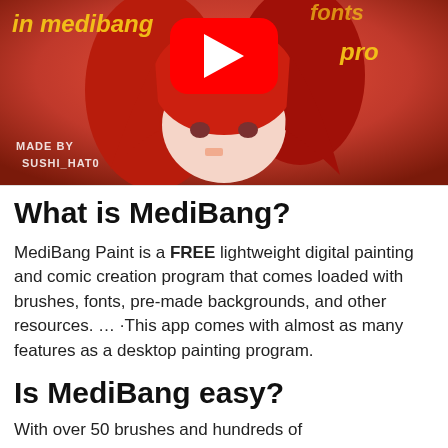[Figure (screenshot): YouTube video thumbnail showing an anime character with red hair on a red background. Text reads 'in medibang' and 'pro' in gold italic font. YouTube play button in center. 'MADE BY SUSHI_HAT0' text in bottom left.]
What is MediBang?
MediBang Paint is a FREE lightweight digital painting and comic creation program that comes loaded with brushes, fonts, pre-made backgrounds, and other resources. … ·This app comes with almost as many features as a desktop painting program.
Is MediBang easy?
With over 50 brushes and hundreds of